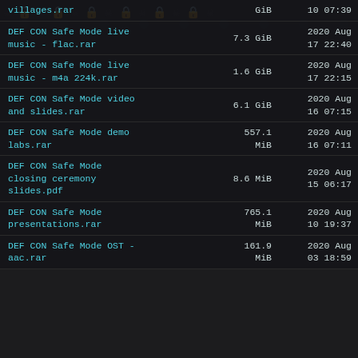| Filename | Size | Date |
| --- | --- | --- |
| villages.rar | GiB | 10 07:39 |
| DEF CON Safe Mode live music - flac.rar | 7.3 GiB | 2020 Aug 17 22:40 |
| DEF CON Safe Mode live music - m4a 224k.rar | 1.6 GiB | 2020 Aug 17 22:15 |
| DEF CON Safe Mode video and slides.rar | 6.1 GiB | 2020 Aug 16 07:15 |
| DEF CON Safe Mode demo labs.rar | 557.1 MiB | 2020 Aug 16 07:11 |
| DEF CON Safe Mode closing ceremony slides.pdf | 8.6 MiB | 2020 Aug 15 06:17 |
| DEF CON Safe Mode presentations.rar | 765.1 MiB | 2020 Aug 10 19:37 |
| DEF CON Safe Mode OST - aac.rar | 161.9 MiB | 2020 Aug 03 18:59 |